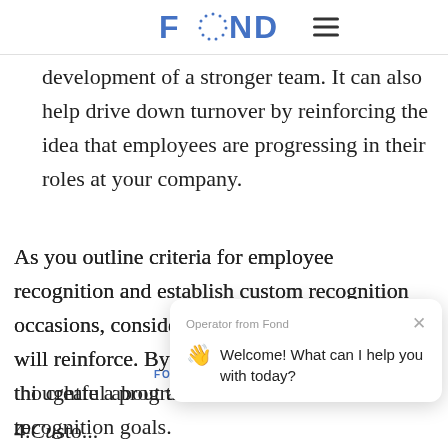FOND
development of a stronger team. It can also help drive down turnover by reinforcing the idea that employees are progressing in their roles at your company.
As you outline criteria for employee recognition and establish custom recognition occasions, consider what goals your selections will reinforce. By being thoughtful about thi- decision you'll be able to create a program t recognition goals.
[Figure (screenshot): Chat widget from Fond operator: 'Welcome! What can I help you with today?' with wave emoji, close button (×), and FOND watermark]
4. Cust...